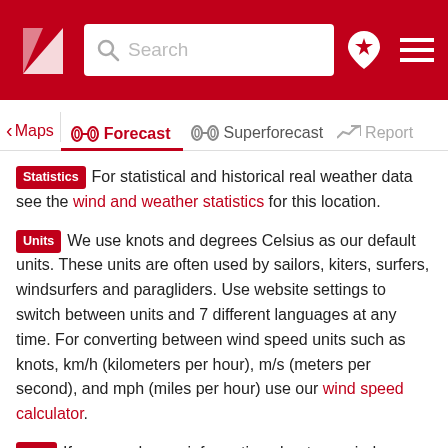Search | Maps | Forecast | Superforecast | Report
Statistics For statistical and historical real weather data see the wind and weather statistics for this location.
Units We use knots and degrees Celsius as our default units. These units are often used by sailors, kiters, surfers, windsurfers and paragliders. Use website settings to switch between units and 7 different languages at any time. For converting between wind speed units such as knots, km/h (kilometers per hour), m/s (meters per second), and mph (miles per hour) use our wind speed calculator.
Help If you need more information about our wind forecast for Venezia San Nicolo, have a look at our help section.